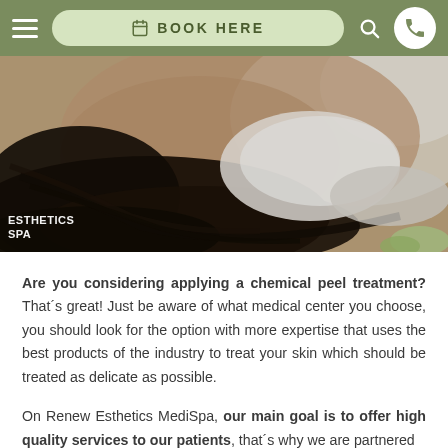BOOK HERE
[Figure (photo): A spa treatment scene showing a person lying down receiving a facial treatment. Long dark hair is visible, and the person's face has a white cream/mask applied. The image has spa branding 'ESTHETICS SPA' in the bottom left corner.]
Are you considering applying a chemical peel treatment? That´s great! Just be aware of what medical center you choose, you should look for the option with more expertise that uses the best products of the industry to treat your skin which should be treated as delicate as possible.
On Renew Esthetics MediSpa, our main goal is to offer high quality services to our patients, that´s why we are partnered